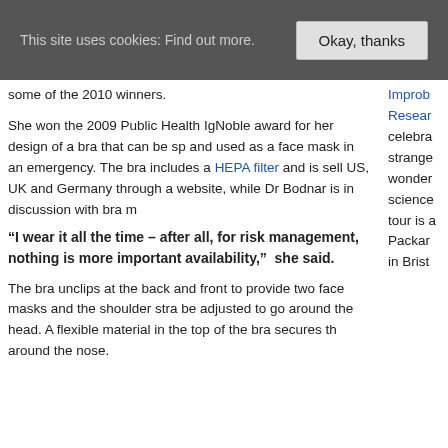This site uses cookies: Find out more.  Okay, thanks
Improb Research celebrates strange wonder science tour is a Packar in Brist
some of the 2010 winners.
She won the 2009 Public Health IgNoble award for her design of a bra that can be sp and used as a face mask in an emergency. The bra includes a HEPA filter and is sell US, UK and Germany through a website, while Dr Bodnar is in discussion with bra m
“I wear it all the time – after all, for risk management, nothing is more important availability,”  she said.
The bra unclips at the back and front to provide two face masks and the shoulder stra be adjusted to go around the head. A flexible material in the top of the bra secures th around the nose.